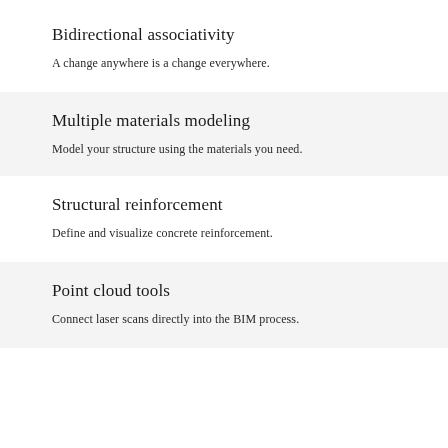Bidirectional associativity
A change anywhere is a change everywhere.
Multiple materials modeling
Model your structure using the materials you need.
Structural reinforcement
Define and visualize concrete reinforcement.
Point cloud tools
Connect laser scans directly into the BIM process.